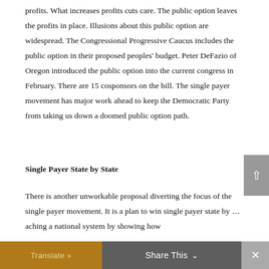profits. What increases profits cuts care. The public option leaves the profits in place. Illusions about this public option are widespread. The Congressional Progressive Caucus includes the public option in their proposed peoples' budget. Peter DeFazio of Oregon introduced the public option into the current congress in February. There are 15 cosponsors on the bill. The single payer movement has major work ahead to keep the Democratic Party from taking us down a doomed public option path.
Single Payer State by State
There is another unworkable proposal diverting the focus of the single payer movement. It is a plan to win single payer state by …aching a national system by showing how